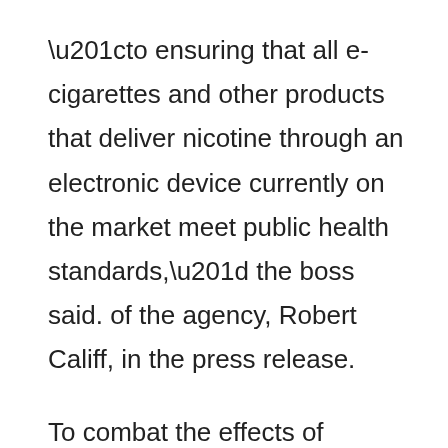“to ensuring that all e-cigarettes and other products that deliver nicotine through an electronic device currently on the market meet public health standards,” the boss said. of the agency, Robert Califf, in the press release.
To combat the effects of smoking, the FDA also announced on Tuesday that it wanted to significantly reduce the